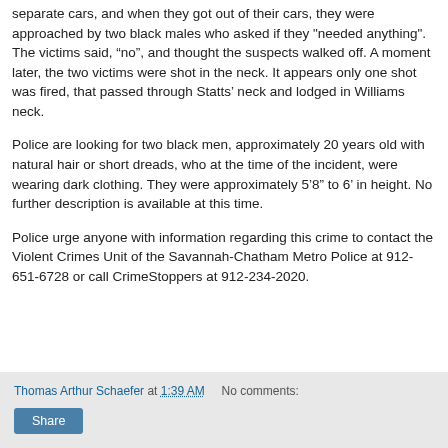separate cars, and when they got out of their cars, they were approached by two black males who asked if they "needed anything". The victims said, “no”, and thought the suspects walked off. A moment later, the two victims were shot in the neck. It appears only one shot was fired, that passed through Statts’ neck and lodged in Williams neck.
Police are looking for two black men, approximately 20 years old with natural hair or short dreads, who at the time of the incident, were wearing dark clothing. They were approximately 5‘8” to 6’ in height. No further description is available at this time.
Police urge anyone with information regarding this crime to contact the Violent Crimes Unit of the Savannah-Chatham Metro Police at 912- 651-6728 or call CrimeStoppers at 912-234-2020.
Thomas Arthur Schaefer at 1:39 AM   No comments:  Share